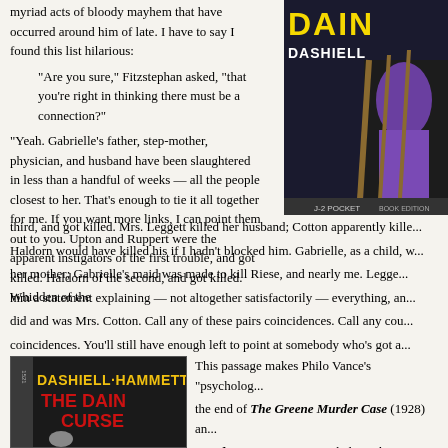myriad acts of bloody mayhem that have occurred around him of late. I have to say I found this list hilarious:
“Are you sure,” Fitzstephan asked, “that you’re right in thinking there must be a connection?”
“Yeah. Gabrielle’s father, step-mother, physician, and husband have been slaughtered in less than a handful of weeks — all the people closest to her. That’s enough to tie it all together for me. If you want more links, I can point them out to you. Upton and Ruppert were the apparent instigators of the first trouble, and got killed. Haldorn of the second, and got killed. Whidden of the third, and got killed. Mrs. Leggett killed her husband; Cotton apparently kille... Haldorn would have killed his if I hadn’t blocked him. Gabrielle, as a child, w... her mother; Gabrielle’s maid was made to kill Riese, and nearly me. Legge... him a statement explaining — not altogether satisfactorily — everything, an... did and was Mrs. Cotton. Call any of these pairs coincidences. Call any cou... coincidences. You’ll still have enough left to point at somebody who’s got a... likes, and sticks to it.”
[Figure (photo): Book cover of 'Dain Curse' by Dashiell Hammett, pocket edition, showing a figure in purple on a staircase]
[Figure (photo): Book cover of 'The Dain Curse' by Dashiell Hammett, showing title text and a figure]
This passage makes Philo Vance’s “psycholog... the end of The Greene Murder Case (1928) an... Murder Case seems overwhelmingly convincing... comparison. Unfortunately, it is reflective of the ... the novel given over to the Op’s inevitably tedio...